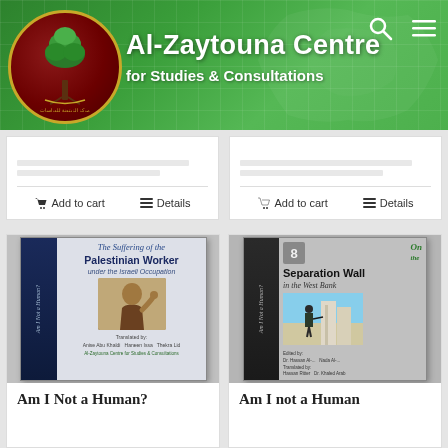[Figure (logo): Al-Zaytouna Centre for Studies and Consultations logo — circular emblem with tree on dark red background with gold border]
Al-Zaytouna Centre
for Studies & Consultations
[Figure (screenshot): Website product listing page showing book cards with Add to cart and Details buttons]
[Figure (photo): Book cover: Am I Not a Human? — The Suffering of the Palestinian Worker under the Israeli Occupation]
Am I Not a Human?
[Figure (photo): Book cover: Am I not a Human — Separation Wall in the West Bank, number 8 in series]
Am I not a Human